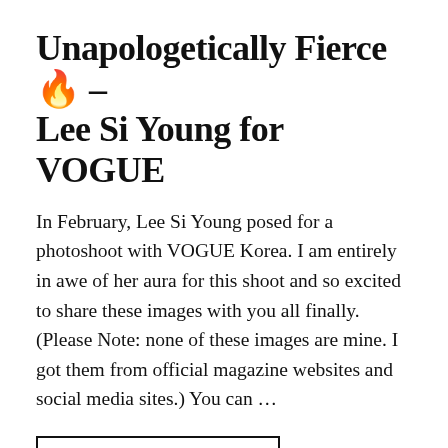Unapologetically Fierce🔥 – Lee Si Young for VOGUE
In February, Lee Si Young posed for a photoshoot with VOGUE Korea. I am entirely in awe of her aura for this shoot and so excited to share these images with you all finally. (Please Note: none of these images are mine. I got them from official magazine websites and social media sites.) You can …
CONTINUE READING →
Share this: